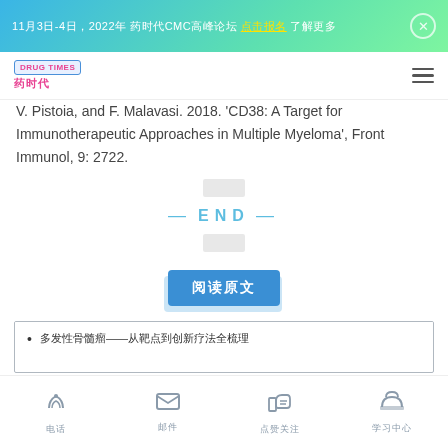11月3日-4日，2022年 CMC高峰论坛 点击报名
[Figure (logo): Drug Times / 药时代 logo with navigation hamburger menu]
V. Pistoia, and F. Malavasi. 2018. 'CD38: A Target for Immunotherapeutic Approaches in Multiple Myeloma', Front Immunol, 9: 2722.
— END —
阅读原文
多发性骨髓瘤——从靶点到创新疗法全梳理
电话  邮件  点赞关注  学习中心